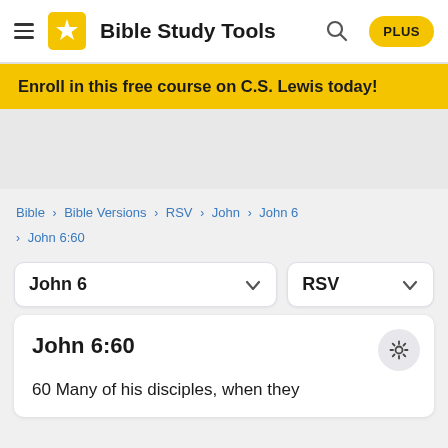Bible Study Tools  PLUS
Enroll in this free course on C.S. Lewis today!
Bible > Bible Versions > RSV > John > John 6 > John 6:60
John 6  RSV
John 6:60
60 Many of his disciples, when they